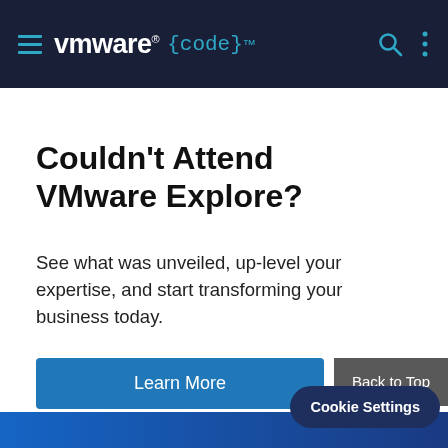VMware {code}™
Couldn't Attend VMware Explore?
See what was unveiled, up-level your expertise, and start transforming your business today.
Learn More
Back to Top
Cookie Settings